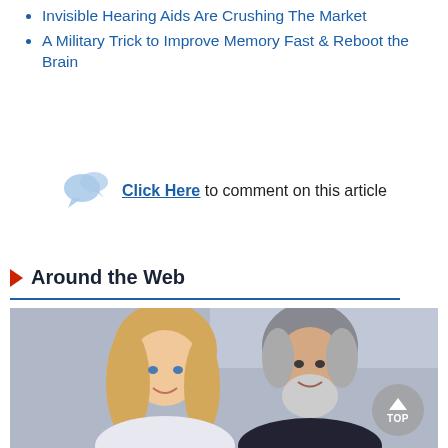Invisible Hearing Aids Are Crushing The Market
A Military Trick to Improve Memory Fast & Reboot the Brain
Click Here to comment on this article
Around the Web
[Figure (photo): A woman with long blonde hair and a man with gray hair and beard, posing together in front of an AT&T branded backdrop at an event.]